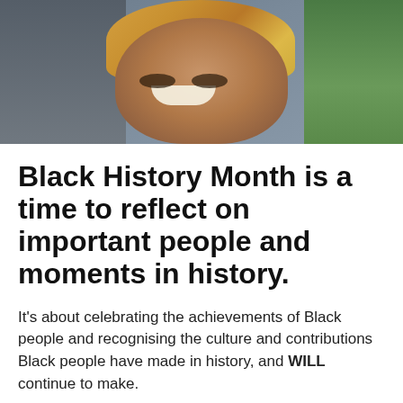[Figure (photo): A smiling Black woman with long blonde braids, photographed in what appears to be a café or shop setting, with plants visible on the right side.]
Black History Month is a time to reflect on important people and moments in history.
It's about celebrating the achievements of Black people and recognising the culture and contributions Black people have made in history, and WILL continue to make.
People are talking about Black History Month more and more in the UK, but there's still a